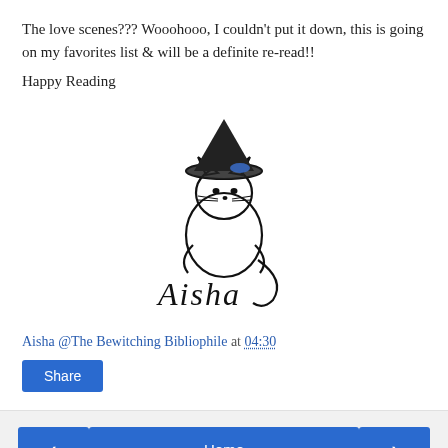The love scenes??? Wooohooo, I couldn't put it down, this is going on my favorites list & will be a definite re-read!!
Happy Reading
[Figure (logo): Aisha signature logo with a cat wearing a witch hat, cursive text reading 'Aisha']
Aisha @The Bewitching Bibliophile at 04:30
Share
< Home >
View web version
Powered by Blogger.